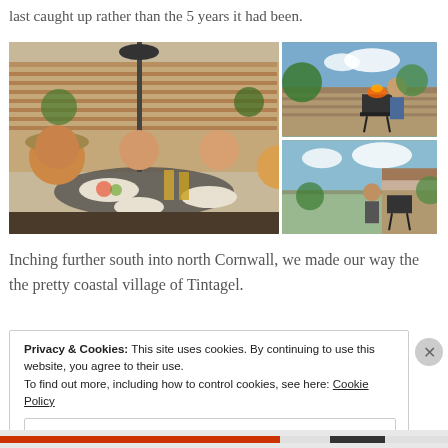last caught up rather than the 5 years it had been.
[Figure (photo): Photo collage showing four people eating and drinking at an outdoor garden table with food and beer, plus two smaller photos of a man grilling at a barbecue in a sunny garden.]
Inching further south into north Cornwall, we made our way the the pretty coastal village of Tintagel.
Privacy & Cookies: This site uses cookies. By continuing to use this website, you agree to their use.
To find out more, including how to control cookies, see here: Cookie Policy
Close and accept